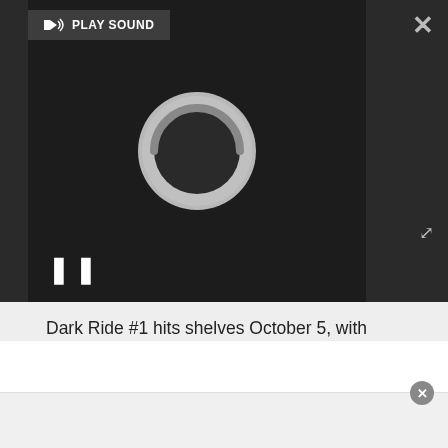[Figure (screenshot): Video player with dark background showing a loading spinner circle, pause button, play sound bar at top, close button, and expand button]
Dark Ride #1 hits shelves October 5, with main cover art by Bressan and series colorist Adriano Lucas and a variant by Martín Morazzo.
Don't miss the best horror comics of all time.
Samantha Puc
Editor, Newsarama